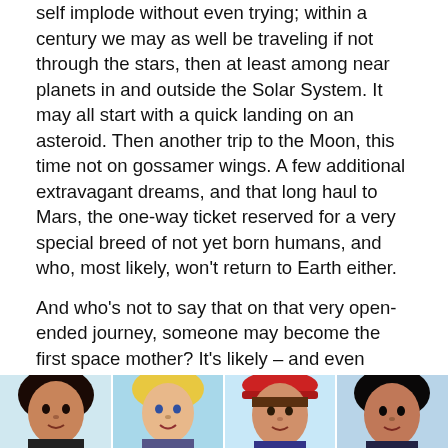self implode without even trying; within a century we may as well be traveling if not through the stars, then at least among near planets in and outside the Solar System. It may all start with a quick landing on an asteroid. Then another trip to the Moon, this time not on gossamer wings. A few additional extravagant dreams, and that long haul to Mars, the one-way ticket reserved for a very special breed of not yet born humans, and who, most likely, won't return to Earth either.
And who's not to say that on that very open-ended journey, someone may become the first space mother? It's likely – and even preferable – that nationality won't be relevant then. Or race. Or, to a certain extent, age. Gender, though, will. And there's just one that's been trained on this particular task for 100,000-plus years.
[Figure (photo): Four illustrated/comic-style portrait images of women side by side: a dark-haired woman, a blonde woman, a woman wearing a red cap, and a dark-haired woman.]